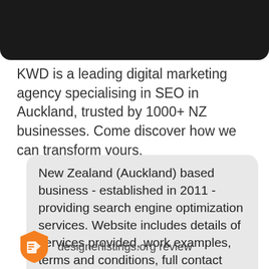[Figure (photo): Dark/black rounded image at top of page, partially cropped]
KWD is a leading digital marketing agency specialising in SEO in Auckland, trusted by 1000+ NZ businesses. Come discover how we can transform yours.
New Zealand (Auckland) based business - established in 2011 - providing search engine optimization services. Website includes details of services provided, work examples, terms and conditions, full contact details including company registration number.
[Figure (logo): designerlistings.org orange badge/shield logo]
designerlistings.org review